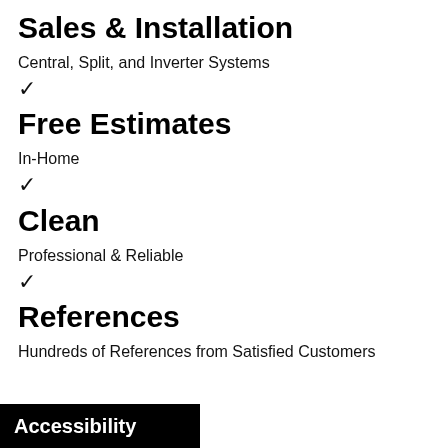Sales & Installation
Central, Split, and Inverter Systems
✓
Free Estimates
In-Home
✓
Clean
Professional & Reliable
✓
References
Hundreds of References from Satisfied Customers
Accessibility